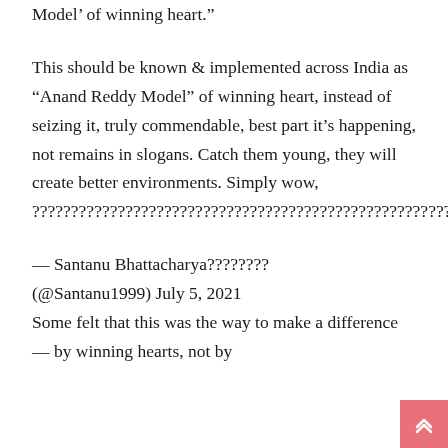Model' of winning heart."
This should be known & implemented across India as “Anand Reddy Model” of winning heart, instead of seizing it, truly commendable, best part it’s happening, not remains in slogans. Catch them young, they will create better environments. Simply wow, ????????????????????????????????????????????????????????????? https://t.co/kiIe5Jj8Qq
— Santanu Bhattacharya???????? (@Santanu1999) July 5, 2021
Some felt that this was the way to make a difference — by winning hearts, not by